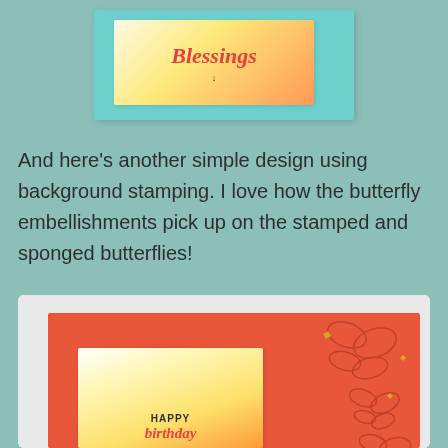[Figure (photo): A greeting card with a teal background and a white inner card showing a gradient yellow-to-orange design with the word 'Blessings' in red script, partially cropped at top of page.]
And here's another simple design using background stamping. I love how the butterfly embellishments pick up on the stamped and sponged butterflies!
[Figure (photo): A handmade greeting card with coral/orange background showing butterfly outlines stamped in darker coral, small gold butterfly embellishments, and an inner card with a yellow-to-white gradient and 'HAPPY birthday' text at the bottom, partially cropped.]